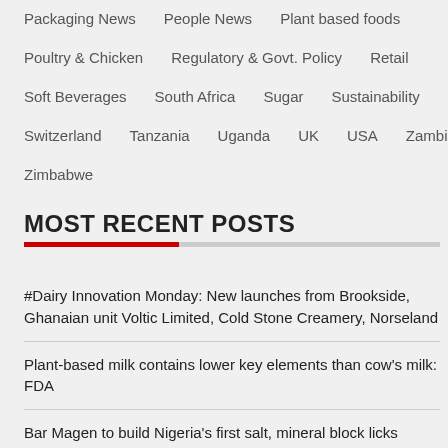Packaging News
People News
Plant based foods
Poultry & Chicken
Regulatory & Govt. Policy
Retail
Soft Beverages
South Africa
Sugar
Sustainability
Switzerland
Tanzania
Uganda
UK
USA
Zambia
Zimbabwe
MOST RECENT POSTS
#Dairy Innovation Monday: New launches from Brookside, Ghanaian unit Voltic Limited, Cold Stone Creamery, Norseland
Plant-based milk contains lower key elements than cow's milk: FDA
Bar Magen to build Nigeria's first salt, mineral block licks